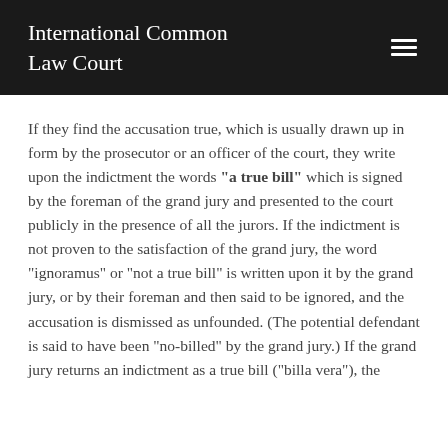International Common Law Court
If they find the accusation true, which is usually drawn up in form by the prosecutor or an officer of the court, they write upon the indictment the words "a true bill" which is signed by the foreman of the grand jury and presented to the court publicly in the presence of all the jurors. If the indictment is not proven to the satisfaction of the grand jury, the word "ignoramus" or "not a true bill" is written upon it by the grand jury, or by their foreman and then said to be ignored, and the accusation is dismissed as unfounded. (The potential defendant is said to have been "no-billed" by the grand jury.) If the grand jury returns an indictment as a true bill ("billa vera"), the